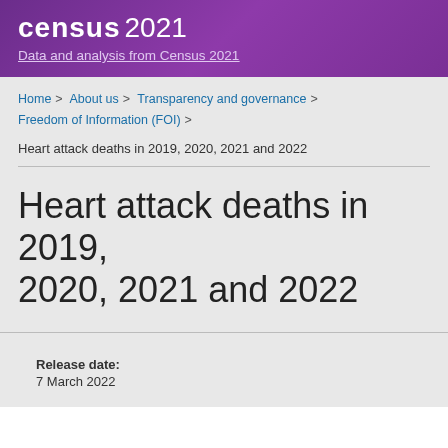census 2021 — Data and analysis from Census 2021
Home > About us > Transparency and governance > Freedom of Information (FOI) >
Heart attack deaths in 2019, 2020, 2021 and 2022
Heart attack deaths in 2019, 2020, 2021 and 2022
Release date:
7 March 2022